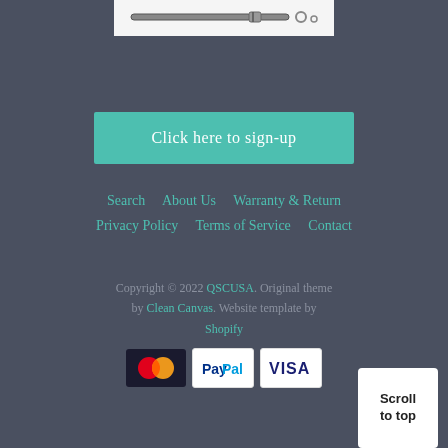[Figure (photo): Product image showing mechanical parts/belts on white background]
Click here to sign-up
Search   About Us   Warranty & Return   Privacy Policy   Terms of Service   Contact
Copyright © 2022 QSCUSA. Original theme by Clean Canvas. Website template by Shopify
[Figure (other): Payment method icons: Mastercard, PayPal, Visa]
Scroll to top